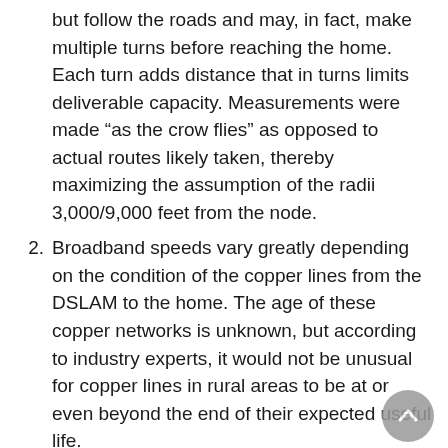but follow the roads and may, in fact, make multiple turns before reaching the home. Each turn adds distance that in turns limits deliverable capacity. Measurements were made “as the crow flies” as opposed to actual routes likely taken, thereby maximizing the assumption of the radii 3,000/9,000 feet from the node.
2. Broadband speeds vary greatly depending on the condition of the copper lines from the DSLAM to the home. The age of these copper networks is unknown, but according to industry experts, it would not be unusual for copper lines in rural areas to be at or even beyond the end of their expected useful life.
3. It is possible that one or more DSLAMs were missed in this field inventory. However, because the study’s purpose is to improve understanding of the level of broadband service generally available to customers served by CAF II-funded deployments, rather than to provide a definitive service inventory for a particular